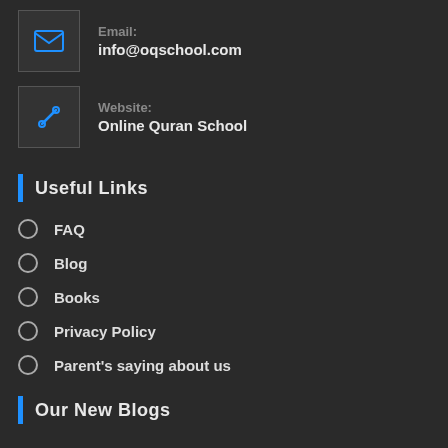Email: info@oqschool.com
Website: Online Quran School
Useful Links
FAQ
Blog
Books
Privacy Policy
Parent's saying about us
Our New Blogs
10 practical outcomes of Online Quran classes for beginners
FEBRUARY 10, 2022 / 0 COMMENTS